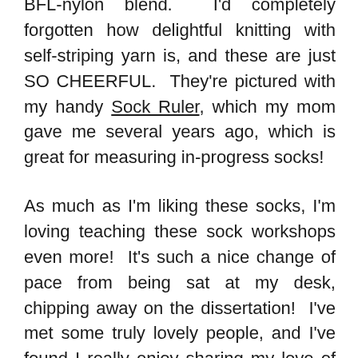BFL-nylon blend.  I'd completely forgotten how delightful knitting with self-striping yarn is, and these are just SO CHEERFUL.  They're pictured with my handy Sock Ruler, which my mom gave me several years ago, which is great for measuring in-progress socks!
As much as I'm liking these socks, I'm loving teaching these sock workshops even more!  It's such a nice change of pace from being sat at my desk, chipping away on the dissertation!  I've met some truly lovely people, and I've found I really enjoy sharing my love of knitting with others.  I've been scheming and planning what sort of workshops I